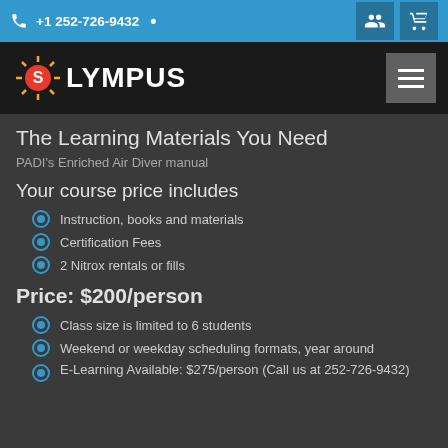+1 252-726-9432
[Figure (logo): Olympus diving logo with sun icon and bold white text]
The Learning Materials You Need
PADI's Enriched Air Diver manual
Your course price includes
Instruction, books and materials
Certification Fees
2 Nitrox rentals or fills
Price: $200/person
Class size is limited to 6 students
Weekend or weekday scheduling formats, year around
E-Learning Available: $275/person (Call us at 252-726-9432)